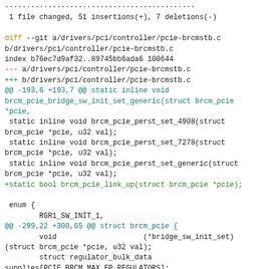1 file changed, 51 insertions(+), 7 deletions(-)
diff --git a/drivers/pci/controller/pcie-brcmstb.c b/drivers/pci/controller/pcie-brcmstb.c
index b76ec7d9af32..89745bb6ada6 100644
--- a/drivers/pci/controller/pcie-brcmstb.c
+++ b/drivers/pci/controller/pcie-brcmstb.c
@@ -193,6 +193,7 @@ static inline void brcm_pcie_bridge_sw_init_set_generic(struct brcm_pcie *pcie,
 static inline void brcm_pcie_perst_set_4908(struct brcm_pcie *pcie, u32 val);
 static inline void brcm_pcie_perst_set_7278(struct brcm_pcie *pcie, u32 val);
 static inline void brcm_pcie_perst_set_generic(struct brcm_pcie *pcie, u32 val);
+static bool brcm_pcie_link_up(struct brcm_pcie *pcie);

 enum {
        RGR1_SW_INIT_1,
@@ -299,22 +300,65 @@ struct brcm_pcie {
        void                    (*bridge_sw_init_set)
(struct brcm_pcie *pcie, u32 val);
        struct regulator_bulk_data supplies[PCIE_BRCM_MAX_EP_REGULATORS];
        unsigned int            num_supplies;
+       bool                    ep_wakeup_capable;
 };

 static int brcm_set_regulators(struct brcm_pcie *pcie,